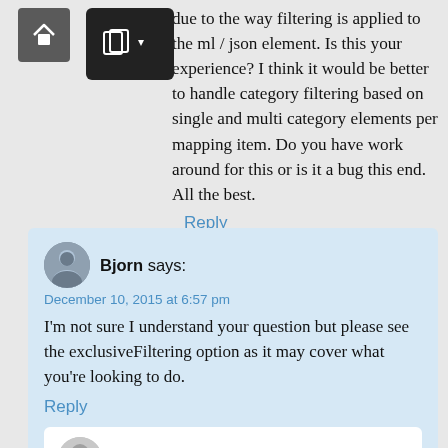[Figure (screenshot): Navigation bar with home icon and share button]
due to the way filtering is applied to the ml / json element. Is this your experience? I think it would be better to handle category filtering based on single and multi category elements per mapping item. Do you have work around for this or is it a bug this end. All the best.
Reply
Bjorn says: December 10, 2015 at 6:57 pm I'm not sure I understand your question but please see the exclusiveFiltering option as it may cover what you're looking to do.
Reply
Knight says: